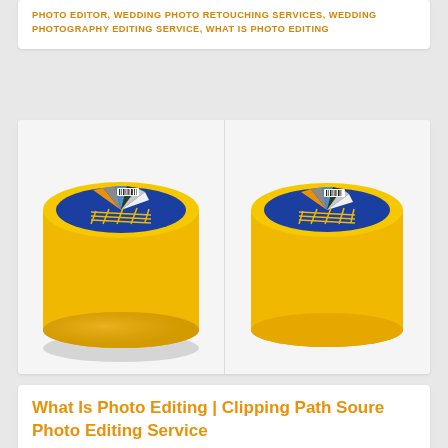PHOTO EDITOR, WEDDING PHOTO RETOUCHING SERVICES, WEDDING PHOTOGRAPHY EDITING SERVICE, WHAT IS PHOTO EDITING
[Figure (photo): Two side-by-side product photos of a round yellow tin/container with a blue circular label showing color swatches and a barcode, displayed before and after photo editing on a white background.]
What Is Photo Editing | Clipping Path Soure Photo Editing Service
FRIDAY, 06 JULY 2018 BY SAYADUL ARAFIN TAMJID